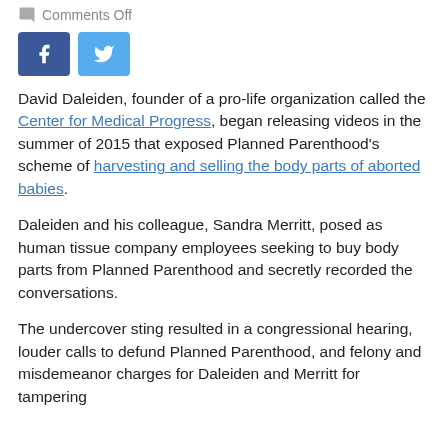Comments Off
[Figure (other): Social media share buttons: Facebook (blue) and Twitter (light blue)]
David Daleiden, founder of a pro-life organization called the Center for Medical Progress, began releasing videos in the summer of 2015 that exposed Planned Parenthood's scheme of harvesting and selling the body parts of aborted babies.
Daleiden and his colleague, Sandra Merritt, posed as human tissue company employees seeking to buy body parts from Planned Parenthood and secretly recorded the conversations.
The undercover sting resulted in a congressional hearing, louder calls to defund Planned Parenthood, and felony and misdemeanor charges for Daleiden and Merritt for tampering with...